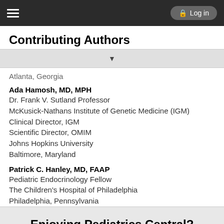Log in
Contributing Authors
Atlanta, Georgia
Ada Hamosh, MD, MPH
Dr. Frank V. Sutland Professor
McKusick-Nathans Institute of Genetic Medicine (IGM)
Clinical Director, IGM
Scientific Director, OMIM
Johns Hopkins University
Baltimore, Maryland
Patrick C. Hanley, MD, FAAP
Pediatric Endocrinology Fellow
The Children's Hospital of Philadelphia
Philadelphia, Pennsylvania
Enjoying Pediatrics Central?
Purchase a subscription
I'm already a subscriber